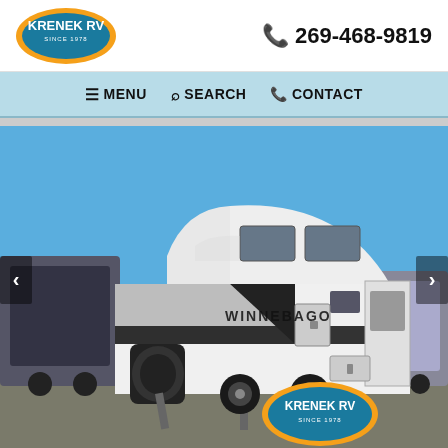[Figure (logo): Krenek RV oval logo with teal/blue background and orange border, text: KRENEK RV SINCE 1978]
📞 269-468-9819
☰ MENU  🔍 SEARCH  📞 CONTACT
[Figure (photo): Outdoor photo of a white Winnebago travel trailer RV parked in a lot under blue sky, with a Krenek RV watermark logo overlaid in the bottom right area]